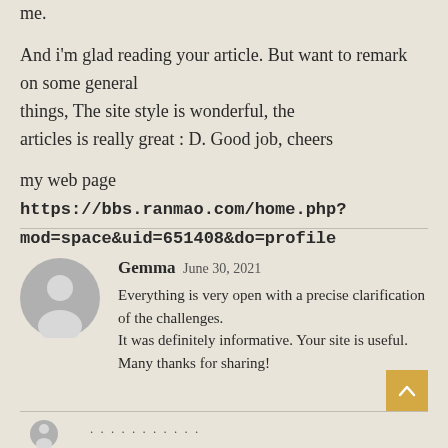me.
And i'm glad reading your article. But want to remark on some general things, The site style is wonderful, the articles is really great : D. Good job, cheers
my web page https://bbs.ranmao.com/home.php?mod=space&uid=651408&do=profile
Gemma June 30, 2021
Everything is very open with a precise clarification of the challenges. It was definitely informative. Your site is useful. Many thanks for sharing!